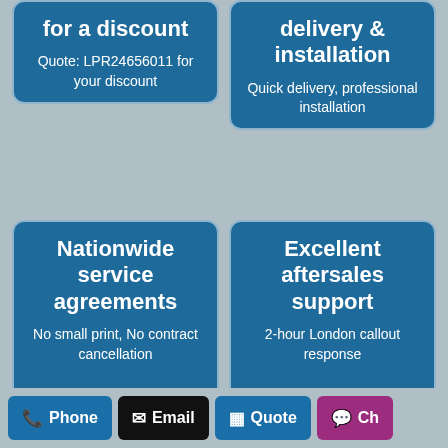[Figure (infographic): Top-left card: 'for a discount' with subtext 'Quote: LPR24656011 for your discount' on blue background]
[Figure (infographic): Top-right card: 'delivery & installation' with subtext 'Quick delivery, professional installation' on blue background]
[Figure (infographic): Bottom-left card: 'Nationwide service agreements' with subtext 'No small print, No contract cancellation' on blue background]
[Figure (infographic): Bottom-right card: 'Excellent aftersales support' with subtext '2-hour London callout response' on blue background]
Phone | Email | Quote | Ch...